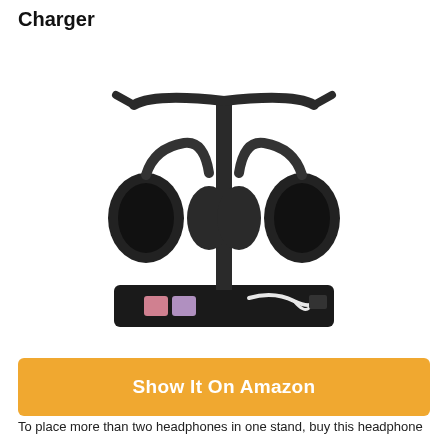Charger
[Figure (photo): A dual headphone stand with two black over-ear headphones hanging on either side of a central vertical pole. The base is a flat black tray containing two pink USB charging ports on the left side and white cables with a black adapter on the right side.]
Show It On Amazon
To place more than two headphones in one stand, buy this headphone